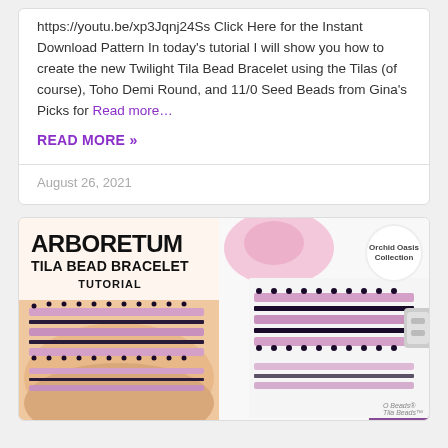https://youtu.be/xp3Jqnj24Ss Click Here for the Instant Download Pattern In today's tutorial I will show you how to create the new Twilight Tila Bead Bracelet using the Tilas (of course), Toho Demi Round, and 11/0 Seed Beads from Gina's Picks for Read more…
READ MORE »
August 26, 2021
[Figure (photo): Arboretum Tila Bead Bracelet Tutorial promotional image showing a pink and black beaded bracelet on a wrist (left panel) and a flat-lay photo of the bracelet with clasp (right panel). Text overlay: ARBORETUM TILA BEAD BRACELET TUTORIAL. Badge reads Orchid Oasis Collection. Bottom credit: O Beads Tila Beads.]